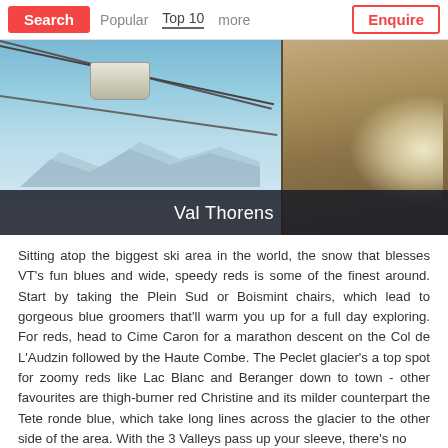Search | Popular | Top 10 | more | Enquire
[Figure (photo): View from below of a ski gondola cable car against a blue alpine sky, with a rustic stone chalet building on the right side. Mountains visible in the background. Caption overlay reads 'Val Thorens'.]
Val Thorens
Sitting atop the biggest ski area in the world, the snow that blesses VT's fun blues and wide, speedy reds is some of the finest around. Start by taking the Plein Sud or Boismint chairs, which lead to gorgeous blue groomers that'll warm you up for a full day exploring. For reds, head to Cime Caron for a marathon descent on the Col de L'Audzin followed by the Haute Combe. The Peclet glacier's a top spot for zoomy reds like Lac Blanc and Beranger down to town - other favourites are thigh-burner red Christine and its milder counterpart the Tete ronde blue, which take long lines across the glacier to the other side of the area. With the 3 Valleys pass up your sleeve, there's no